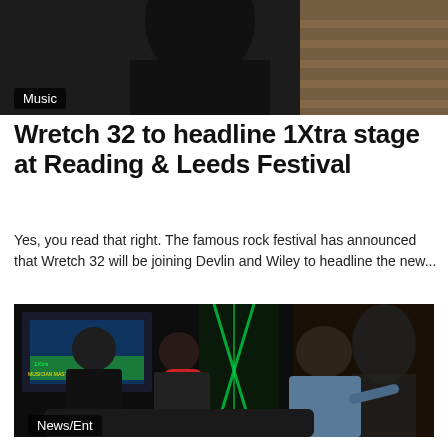[Figure (photo): Top portion of a photo showing a person in dark clothing against a brick wall background]
Music
Wretch 32 to headline 1Xtra stage at Reading & Leeds Festival
Yes, you read that right. The famous rock festival has announced that Wretch 32 will be joining Devlin and Wiley to headline the new...
[Figure (photo): Three men seated on a stage panel for what appears to be a BBC 1Xtra Musician Masterclass event. Two men on the left wear caps and hold microphones, while a third man on the right in a light blue shirt gestures while speaking.]
News/Ent